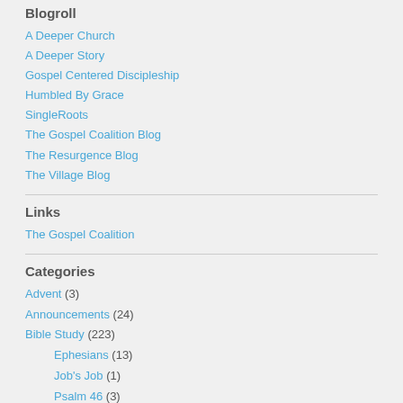Blogroll
A Deeper Church
A Deeper Story
Gospel Centered Discipleship
Humbled By Grace
SingleRoots
The Gospel Coalition Blog
The Resurgence Blog
The Village Blog
Links
The Gospel Coalition
Categories
Advent (3)
Announcements (24)
Bible Study (223)
Ephesians (13)
Job's Job (1)
Psalm 46 (3)
Romans (2)